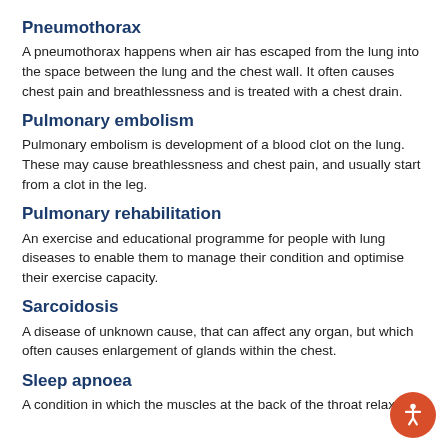Pneumothorax
A pneumothorax happens when air has escaped from the lung into the space between the lung and the chest wall. It often causes chest pain and breathlessness and is treated with a chest drain.
Pulmonary embolism
Pulmonary embolism is development of a blood clot on the lung. These may cause breathlessness and chest pain, and usually start from a clot in the leg.
Pulmonary rehabilitation
An exercise and educational programme for people with lung diseases to enable them to manage their condition and optimise their exercise capacity.
Sarcoidosis
A disease of unknown cause, that can affect any organ, but which often causes enlargement of glands within the chest.
Sleep apnoea
A condition in which the muscles at the back of the throat relax